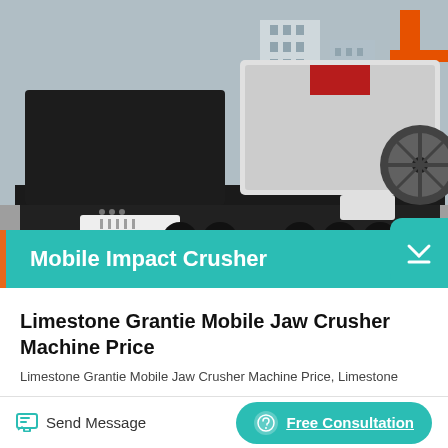[Figure (photo): Mobile impact crusher machine mounted on a heavy-duty trailer/flatbed vehicle, photographed in an industrial yard with buildings in background. The machine is large, predominantly black with some white and red sections, featuring a large impact crushing unit.]
Mobile Impact Crusher
Limestone Grantie Mobile Jaw Crusher Machine Price
Limestone Grantie Mobile Jaw Crusher Machine Price, Limestone
Send Message
Free Consultation